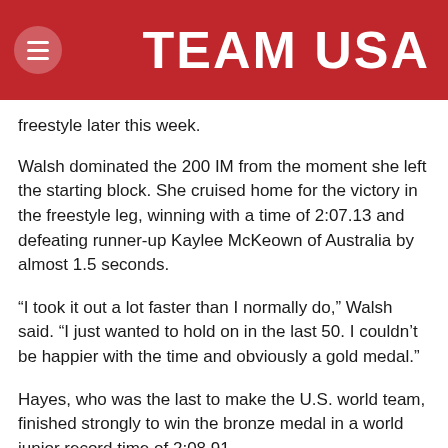TEAM USA
freestyle later this week.
Walsh dominated the 200 IM from the moment she left the starting block. She cruised home for the victory in the freestyle leg, winning with a time of 2:07.13 and defeating runner-up Kaylee McKeown of Australia by almost 1.5 seconds.
“I took it out a lot faster than I normally do,” Walsh said. “I just wanted to hold on in the last 50. I couldn’t be happier with the time and obviously a gold medal.”
Hayes, who was the last to make the U.S. world team, finished strongly to win the bronze medal in a world junior record time of 2:08.91.